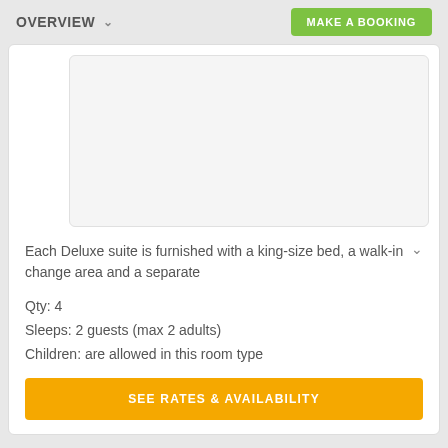OVERVIEW  MAKE A BOOKING
[Figure (photo): Deluxe suite room image placeholder (light gray box)]
Each Deluxe suite is furnished with a king-size bed, a walk-in change area and a separate
Qty: 4
Sleeps: 2 guests (max 2 adults)
Children: are allowed in this room type
SEE RATES & AVAILABILITY
LUXURY TWIN ROOM
[Figure (photo): Luxury twin room image placeholder (light gray box)]